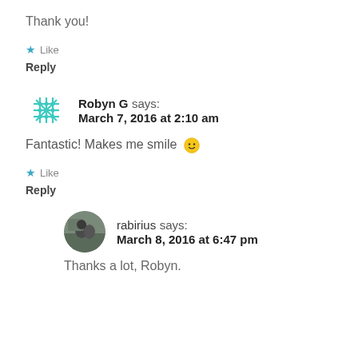Thank you!
★ Like
Reply
Robyn G says: March 7, 2016 at 2:10 am
Fantastic! Makes me smile 🙂
★ Like
Reply
rabirius says: March 8, 2016 at 6:47 pm
Thanks a lot, Robyn.